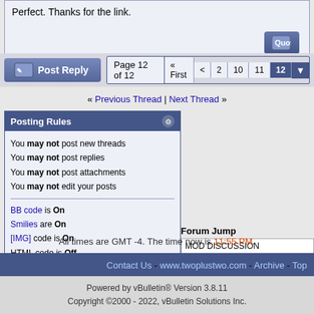Perfect. Thanks for the link.
Page 12 of 12 « First < 2 10 11 12
« Previous Thread | Next Thread »
Posting Rules
You may not post new threads
You may not post replies
You may not post attachments
You may not edit your posts
BB code is On
Smilies are On
[IMG] code is On
HTML code is Off
Forum Rules
Forum Jump
MOD DISCUSSION
All times are GMT -4. The time now is 11:55 PM.
Contact Us - www.twoplustwo.com - Archive - Top
Powered by vBulletin® Version 3.8.11
Copyright ©2000 - 2022, vBulletin Solutions Inc.